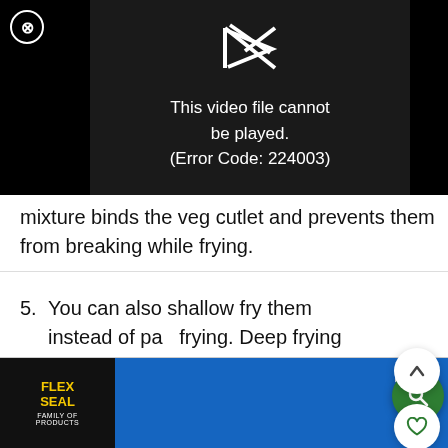[Figure (screenshot): Video player showing error: 'This video file cannot be played. (Error Code: 224003)' with a broken play icon on dark background. A close (X) button is in the top left.]
mixture binds the veg cutlet and prevents them from breaking while frying.
5. You can also shallow fry them instead of pa... frying. Deep frying these can be tricky. 7,676
[Figure (screenshot): Advertisement banner showing Flex Seal Family of Products logo on left and blue background on right with play/close controls.]